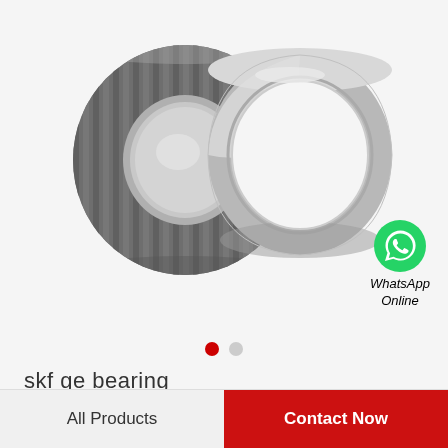[Figure (photo): Two tapered roller bearing components side by side: a cone assembly with ribbed outer surface (left) and a smooth cup/outer ring (right), both in metallic gray steel finish.]
skf ge bearing
WhatsApp Online
All Products
Contact Now